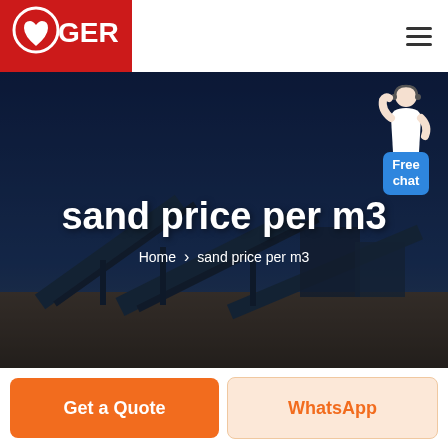GER - Logo and navigation header
sand price per m3
Home > sand price per m3
[Figure (illustration): Free chat widget with a customer service representative figure and a blue bubble saying 'Free chat']
[Figure (photo): Industrial sand/gravel processing facility with conveyor belts under a dark blue evening sky, serving as the hero background image]
Get a Quote
WhatsApp